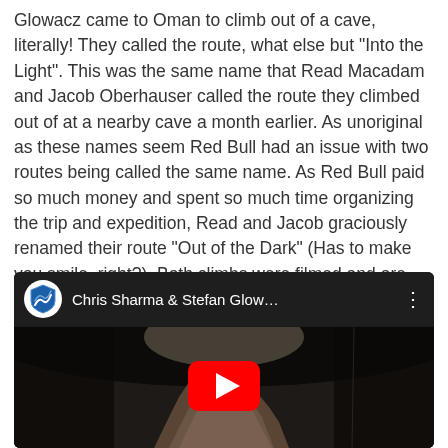Glowacz came to Oman to climb out of a cave, literally! They called the route, what else but "Into the Light". This was the same name that Read Macadam and Jacob Oberhauser called the route they climbed out of at a nearby cave a month earlier. As unoriginal as these names seem Red Bull had an issue with two routes being called the same name. As Red Bull paid so much money and spent so much time organizing the trip and expedition, Read and Jacob graciously renamed their route "Out of the Dark" (Has to make you smile, right?). Both climbs were filmed and are available online:
[Figure (screenshot): YouTube video thumbnail showing Chris Sharma & Stefan Glow... with a YouTube play button overlay on a dark cave image with a rock formation visible.]